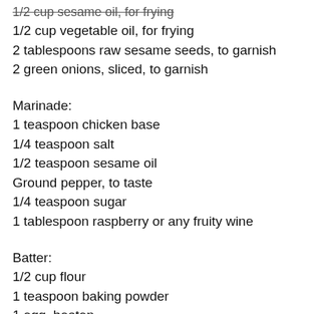1/2 cup sesame oil, for frying
1/2 cup vegetable oil, for frying
2 tablespoons raw sesame seeds, to garnish
2 green onions, sliced, to garnish
Marinade:
1 teaspoon chicken base
1/4 teaspoon salt
1/2 teaspoon sesame oil
Ground pepper, to taste
1/4 teaspoon sugar
1 tablespoon raspberry or any fruity wine
Batter:
1/2 cup flour
1 teaspoon baking powder
1 egg, beaten
1/2 cup water
3 tablespoons cornstarch
Salt, to taste